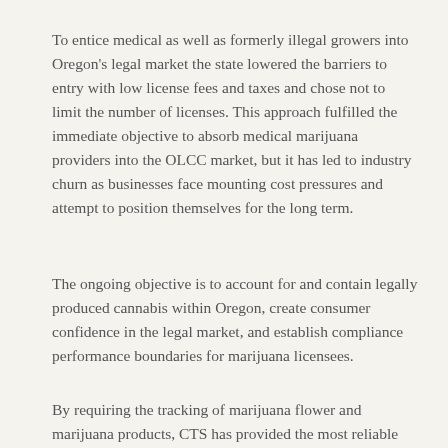To entice medical as well as formerly illegal growers into Oregon's legal market the state lowered the barriers to entry with low license fees and taxes and chose not to limit the number of licenses. This approach fulfilled the immediate objective to absorb medical marijuana providers into the OLCC market, but it has led to industry churn as businesses face mounting cost pressures and attempt to position themselves for the long term.
The ongoing objective is to account for and contain legally produced cannabis within Oregon, create consumer confidence in the legal market, and establish compliance performance boundaries for marijuana licensees.
By requiring the tracking of marijuana flower and marijuana products, CTS has provided the most reliable accounting for legally produced cannabis in